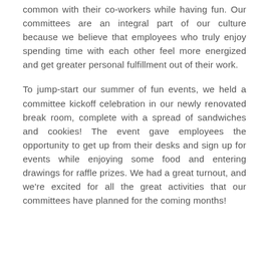common with their co-workers while having fun. Our committees are an integral part of our culture because we believe that employees who truly enjoy spending time with each other feel more energized and get greater personal fulfillment out of their work.
To jump-start our summer of fun events, we held a committee kickoff celebration in our newly renovated break room, complete with a spread of sandwiches and cookies! The event gave employees the opportunity to get up from their desks and sign up for events while enjoying some food and entering drawings for raffle prizes. We had a great turnout, and we're excited for all the great activities that our committees have planned for the coming months!